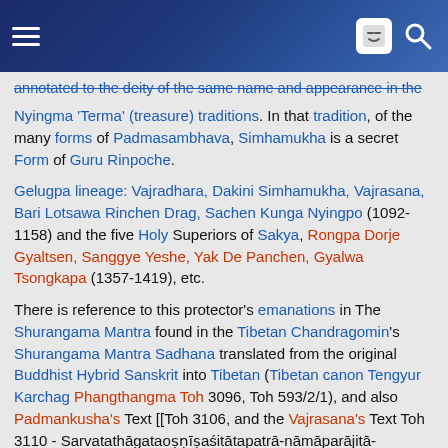[Navigation bar with hamburger menu and search icons]
annotated to the deity of the same name and appearance in the Nyingma 'Terma' (treasure) traditions. In that tradition, of the many forms of Padmasambhava, Simhamukha is a secret Form of Guru Rinpoche.
Gelugpa lineage: Vajradhara, Dakini Simhamukha, Vajrasana, Bari Lotsawa Rinchen Drag, Sachen Kunga Nyingpo (1092-1158) and the five Holy Superiors of Sakya, Rongpa Dorje Gyaltsen, Sanggye Yeshe, Yak De Panchen, Gyalwa Tsongkapa (1357-1419), etc.
There is reference to this protector's emanations in The Shurangama Mantra found in the Tibetan Chandragomin's Shurangama Mantra Sadhana translated from the original Buddhist Hybrid Sanskrit into Tibetan (Tibetan canon Tengyur Karchag Phangthangma Toh 3096, Toh 593/2/1), and also Padmankusha's Text [[Toh 3106, and the Vajrasana's Text Toh 3110 - Sarvatathāgataoṣṇīṣaśitātapatrā-nāmāparājitā-mahāpratyangirā-mahāvidyārājñī-Nāma-dhāraṇī; Tibetan name is phags pa De bshin gshegs pa'i gtsug tor nas byung ba'i gdugs dkar po can gshan gyi mi thub pa phir bzlog pa chen mo mchog tu grub pa shes bya ba'i gzungs.